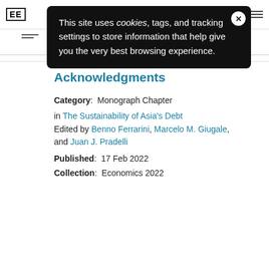EE [logo]
[Figure (screenshot): Cookie consent popup overlay with dark background: 'This site uses cookies, tags, and tracking settings to store information that help give you the very best browsing experience.' with an X close button.]
Page: 1 2 3 4 5 6 7 8 9 10 11 ...
Acknowledgments
Category:  Monograph Chapter
in The Sustainability of Asia's Debt Edited by Benno Ferrarini, Marcelo M. Giugale, and Juan J. Pradelli
Published:  17 Feb 2022
Collection:  Economics 2022